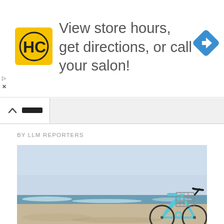[Figure (other): Advertisement banner: HC logo (yellow square with stylized H and C letters), text 'View store hours, get directions, or call your salon!', blue diamond navigation icon. Play and close controls on left side.]
[Figure (screenshot): Browser tab/navigation bar with upward chevron icon and a dark rectangular tab element.]
BY LLM REPORTERS
[Figure (photo): Photograph of a beach scene with a light blue beach cruiser bicycle with a wire basket, parked on sandy beach with ocean waves and light blue sky in the background.]